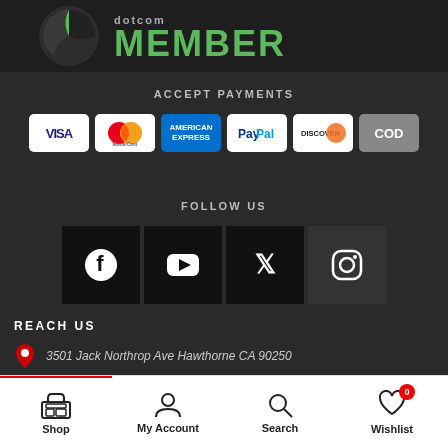[Figure (logo): Dotcom Member badge with green circle logo and MEMBER text in green]
ACCEPT PAYMENTS
[Figure (infographic): Payment method icons: Visa, MasterCard, American Express, PayPal, Discover, COD]
FOLLOW US
[Figure (infographic): Social media icons: Facebook, YouTube, Twitter, Instagram on dark square backgrounds]
REACH US
3501 Jack Northrop Ave Hawthorne CA 90250
256 W St 3, New York, NY 10018
Shop | My Account | Search | Wishlist